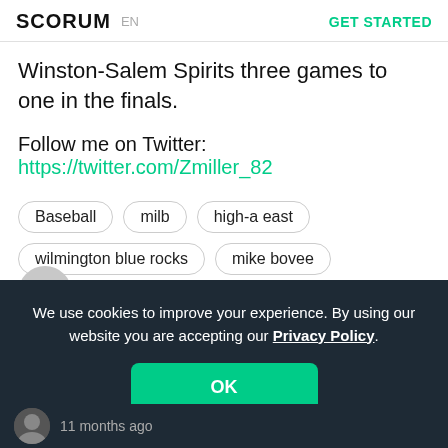SCORUM  EN  GET STARTED
Winston-Salem Spirits three games to one in the finals.
Follow me on Twitter: https://twitter.com/Zmiller_82
Baseball
milb
high-a east
wilmington blue rocks
mike bovee
brian harrison
We use cookies to improve your experience. By using our website you are accepting our Privacy Policy.
OK
11 months ago